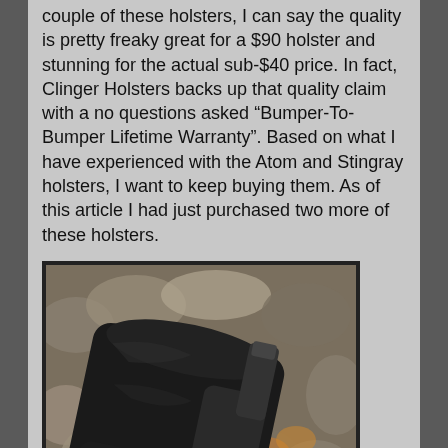couple of these holsters, I can say the quality is pretty freaky great for a $90 holster and stunning for the actual sub-$40 price. In fact, Clinger Holsters backs up that quality claim with a no questions asked “Bumper-To-Bumper Lifetime Warranty”. Based on what I have experienced with the Atom and Stingray holsters, I want to keep buying them. As of this article I had just purchased two more of these holsters.
[Figure (photo): Photo of a black Kydex holster (Stingray Holster) resting on rocks and gravel]
Stingray Holster -
Between the two holsters I like the Stingray holster the best. It is fast, tight and easy holster design that slips into the pants easy, is highly concealable with a shirt pulled over it, and can be pulled out quick at the and of the day or accommodating gun-free zones. The holster itself is extremely well designed